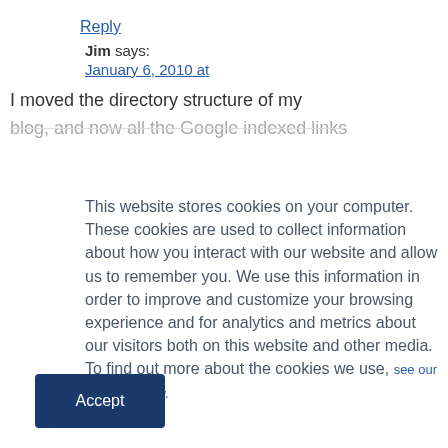Reply
Jim says:
January 6, 2010 at
I moved the directory structure of my
blog, and now all the Google indexed links
This website stores cookies on your computer. These cookies are used to collect information about how you interact with our website and allow us to remember you. We use this information in order to improve and customize your browsing experience and for analytics and metrics about our visitors both on this website and other media. To find out more about the cookies we use, see our Privacy Policy.
Accept